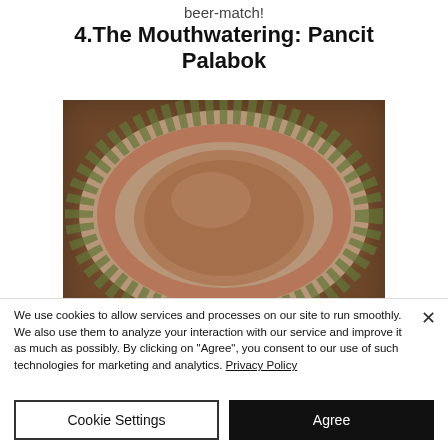beer-match!
4.The Mouthwatering: Pancit Palabok
[Figure (photo): A plate of Pancit Palabok, a Filipino noodle dish with shrimp and garnishes on a decorative plate, viewed from above.]
We use cookies to allow services and processes on our site to run smoothly. We also use them to analyze your interaction with our service and improve it as much as possibly. By clicking on "Agree", you consent to our use of such technologies for marketing and analytics. Privacy Policy
Cookie Settings
Agree